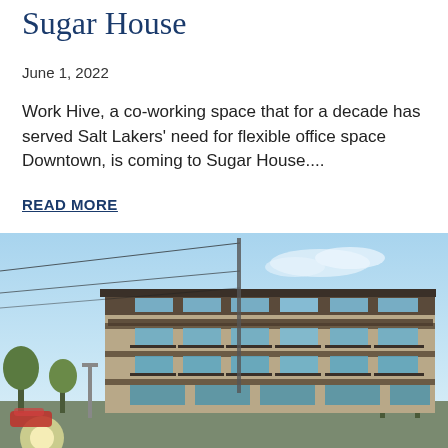Sugar House
June 1, 2022
Work Hive, a co-working space that for a decade has served Salt Lakers' need for flexible office space Downtown, is coming to Sugar House....
READ MORE
[Figure (photo): Exterior rendering of a modern 4-story mixed-use building with brick cladding, balconies, and large windows at dusk with blue sky and trees in foreground. Power lines visible.]